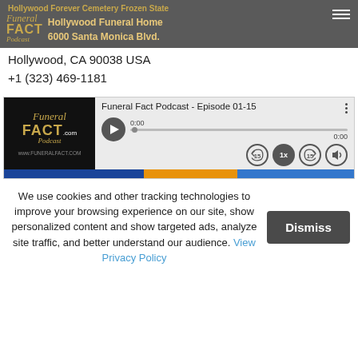Hollywood Forever Cemetery Frozen State
Hollywood Funeral Home
6000 Santa Monica Blvd.
Hollywood, CA 90038 USA
+1 (323) 469-1181
[Figure (screenshot): Funeral Fact Podcast audio player widget showing Episode 01-15, time 0:00, with play button, seek bar, skip 15s back, 1x speed, skip 15s forward, and volume controls. Below the player is a colored bar with blue, orange, and blue segments.]
We use cookies and other tracking technologies to improve your browsing experience on our site, show personalized content and show targeted ads, analyze site traffic, and better understand our audience. View Privacy Policy